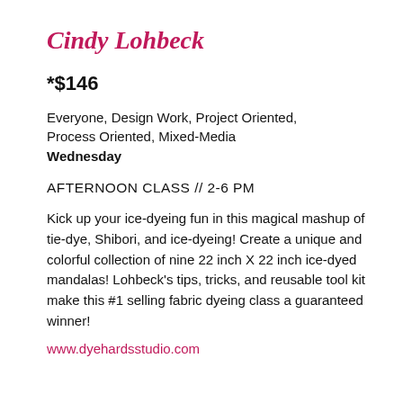Cindy Lohbeck
*$146
Everyone, Design Work, Project Oriented, Process Oriented, Mixed-Media
Wednesday
AFTERNOON CLASS // 2-6 PM
Kick up your ice-dyeing fun in this magical mashup of tie-dye, Shibori, and ice-dyeing! Create a unique and colorful collection of nine 22 inch X 22 inch ice-dyed mandalas! Lohbeck's tips, tricks, and reusable tool kit make this #1 selling fabric dyeing class a guaranteed winner!
www.dyehardsstudio.com